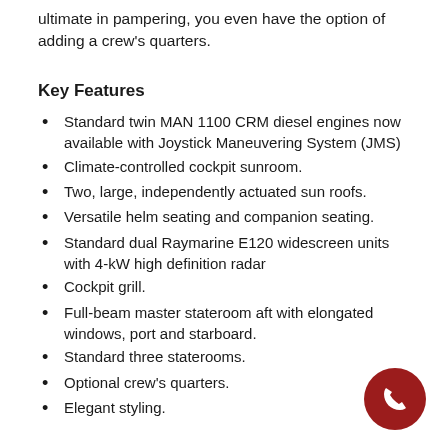ultimate in pampering, you even have the option of adding a crew's quarters.
Key Features
Standard twin MAN 1100 CRM diesel engines now available with Joystick Maneuvering System (JMS)
Climate-controlled cockpit sunroom.
Two, large, independently actuated sun roofs.
Versatile helm seating and companion seating.
Standard dual Raymarine E120 widescreen units with 4-kW high definition radar
Cockpit grill.
Full-beam master stateroom aft with elongated windows, port and starboard.
Standard three staterooms.
Optional crew's quarters.
Elegant styling.